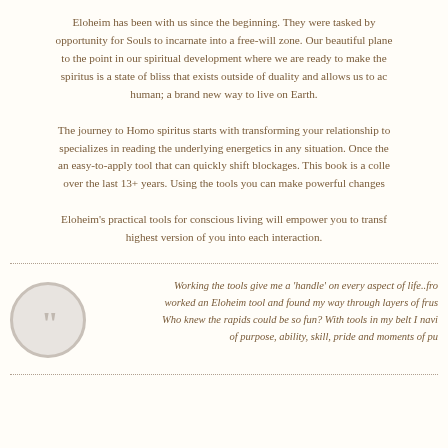Eloheim has been with us since the beginning. They were tasked by opportunity for Souls to incarnate into a free-will zone. Our beautiful plane to the point in our spiritual development where we are ready to make the spiritus is a state of bliss that exists outside of duality and allows us to ac human; a brand new way to live on Earth.
The journey to Homo spiritus starts with transforming your relationship to specializes in reading the underlying energetics in any situation. Once the an easy-to-apply tool that can quickly shift blockages. This book is a colle over the last 13+ years. Using the tools you can make powerful changes
Eloheim’s practical tools for conscious living will empower you to transf highest version of you into each interaction.
Working the tools give me a ‘handle’ on every aspect of life..fro worked an Eloheim tool and found my way through layers of frus Who knew the rapids could be so fun? With tools in my belt I navi of purpose, ability, skill, pride and moments of pu